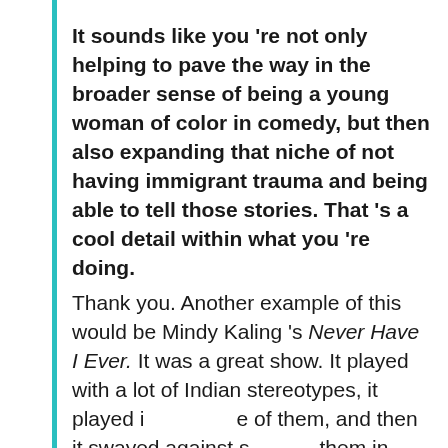It sounds like you 're not only helping to pave the way in the broader sense of being a young woman of color in comedy, but then also expanding that niche of not having immigrant trauma and being able to tell those stories. That 's a cool detail within what you 're doing.
Thank you. Another example of this would be Mindy Kaling 's Never Have I Ever. It was a great show. It played with a lot of Indian stereotypes, it played i[nto some] of them, and then it swayed against s[ome of] them in ways that I thought was very nuanced. Of course, the South Asian community was split. People either loved it or hated it. One of the